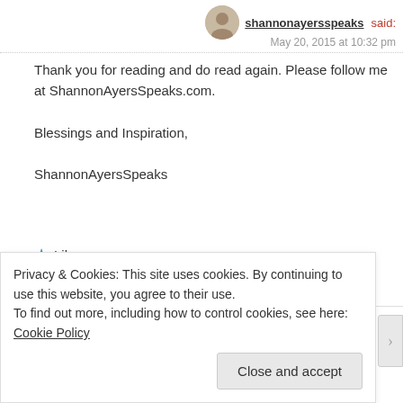shannonayersspeaks said:
May 20, 2015 at 10:32 pm
Thank you for reading and do read again. Please follow me at ShannonAyersSpeaks.com.

Blessings and Inspiration,

ShannonAyersSpeaks
Like
REPLY
Debbra said: May 20, 2015 at 12:39 am
Privacy & Cookies: This site uses cookies. By continuing to use this website, you agree to their use.
To find out more, including how to control cookies, see here: Cookie Policy
Close and accept